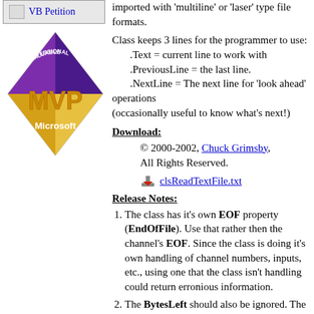[Figure (illustration): VB Petition link with small image icon in a grey box]
[Figure (logo): Microsoft MVP (Most Valuable Professional) diamond logo with purple and gold colors]
imported with 'multiline' or 'laser' type file formats.
Class keeps 3 lines for the programmer to use:
.Text = current line to work with
.PreviousLine = the last line.
.NextLine = The next line for 'look ahead' operations
(occasionally useful to know what's next!)
Download:
© 2000-2002, Chuck Grimsby, All Rights Reserved.
clsReadTextFile.txt
Release Notes:
The class has it's own EOF property (EndOfFile). Use that rather then the channel's EOF. Since the class is doing it's own handling of channel numbers, inputs, etc., using one that the class isn't handling could return erronious information.
The BytesLeft should also be ignored. The class uses it internally for it's own purposes. The .LeftOver property is also something that the class uses for